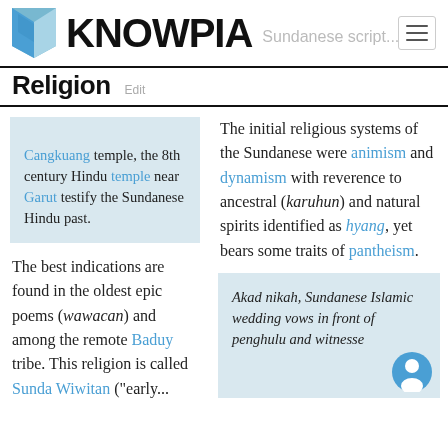KNOWPIA
Religion Edit
[Figure (other): Light blue shaded box placeholder for Cangkuang temple image]
Cangkuang temple, the 8th century Hindu temple near Garut testify the Sundanese Hindu past.
The initial religious systems of the Sundanese were animism and dynamism with reverence to ancestral (karuhun) and natural spirits identified as hyang, yet bears some traits of pantheism.
The best indications are found in the oldest epic poems (wawacan) and among the remote Baduy tribe. This religion is called Sunda Wiwitan ("early...
[Figure (photo): Akad nikah photo box - Sundanese Islamic wedding vows in front of penghulu and witnesses]
Akad nikah, Sundanese Islamic wedding vows in front of penghulu and witnesses